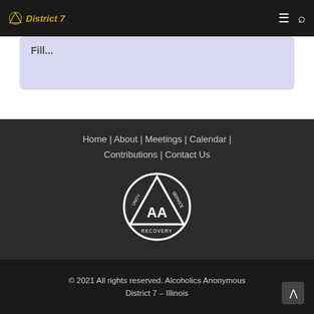District 7
Fill...
Home | About | Meetings | Calendar | Contributions | Contact Us
[Figure (logo): Alcoholics Anonymous logo: circle with triangle inside, text reading UNITY, SERVICE, RECOVERY, AA]
© 2021 All rights reserved. Alcoholics Anonymous District 7 – Illinois